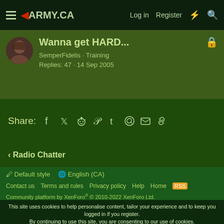◀ARMY.CA  Log in  Register
Wanna get HARD...
SemperFidelis · Training
Replies: 47 · 14 Sep 2005
Share:
< Radio Chatter
🖊 Default style  🌐 English (CA)
Contact us  Terms and rules  Privacy policy  Help  Home
Community platform by XenForo® © 2010-2022 XenForo Ltd.
This site uses cookies to help personalise content, tailor your experience and to keep you logged in if you register. By continuing to use this site, you are consenting to our use of cookies.